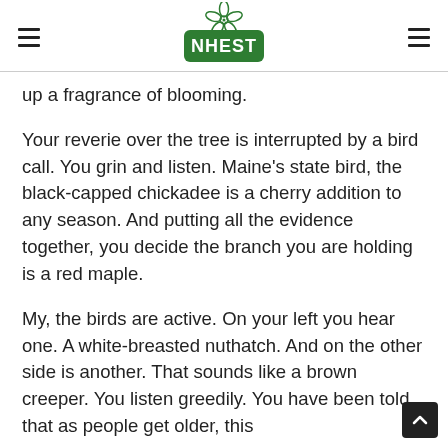NHEST
up a fragrance of blooming.
Your reverie over the tree is interrupted by a bird call. You grin and listen. Maine’s state bird, the black-capped chickadee is a cherry addition to any season. And putting all the evidence together, you decide the branch you are holding is a red maple.
My, the birds are active. On your left you hear one. A white-breasted nuthatch. And on the other side is another. That sounds like a brown creeper. You listen greedily. You have been told that as people get older, this